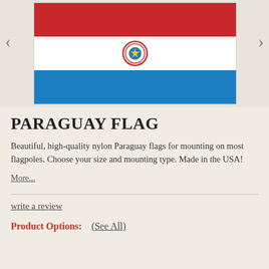[Figure (photo): Paraguay flag image with three horizontal stripes: red on top, white in middle with coat of arms, and blue on bottom. Navigation arrows on left and right sides.]
PARAGUAY FLAG
Beautiful, high-quality nylon Paraguay flags for mounting on most flagpoles. Choose your size and mounting type. Made in the USA!
More...
write a review
Product Options:   (See All)